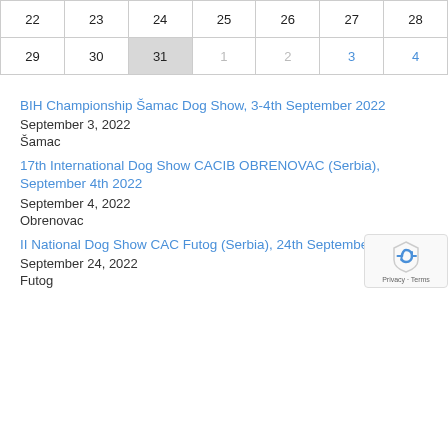| 22 | 23 | 24 | 25 | 26 | 27 | 28 |
| --- | --- | --- | --- | --- | --- | --- |
| 29 | 30 | 31 | 1 | 2 | 3 | 4 |
BIH Championship Šamac Dog Show, 3-4th September 2022
September 3, 2022
Šamac
17th International Dog Show CACIB OBRENOVAC (Serbia), September 4th 2022
September 4, 2022
Obrenovac
II National Dog Show CAC Futog (Serbia), 24th September 2022
September 24, 2022
Futog